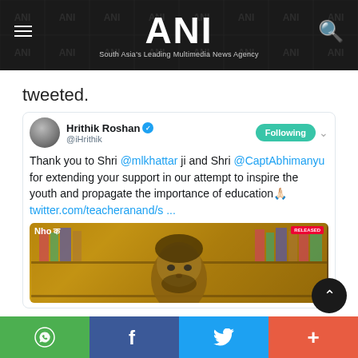ANI — South Asia's Leading Multimedia News Agency
tweeted.
[Figure (screenshot): Embedded tweet by Hrithik Roshan (@iHrithik) with verified badge and Following button. Tweet text: Thank you to Shri @mlkhattar ji and Shri @CaptAbhimanyu for extending your support in our attempt to inspire the youth and propagate the importance of education 🙏 twitter.com/teacheranand/s ... Below the tweet text is a movie still image.]
WhatsApp | Facebook | Twitter | More